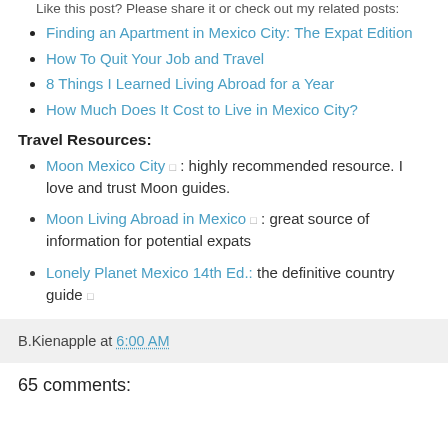Like this post? Please share it or check out my related posts:
Finding an Apartment in Mexico City: The Expat Edition
How To Quit Your Job and Travel
8 Things I Learned Living Abroad for a Year
How Much Does It Cost to Live in Mexico City?
Travel Resources:
Moon Mexico City : highly recommended resource. I love and trust Moon guides.
Moon Living Abroad in Mexico : great source of information for potential expats
Lonely Planet Mexico 14th Ed.: the definitive country guide
B.Kienapple at 6:00 AM
65 comments: